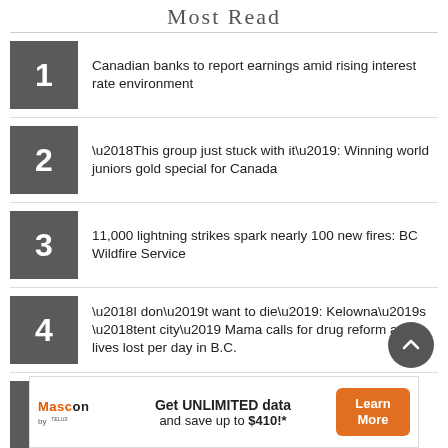Most Read
Canadian banks to report earnings amid rising interest rate environment
‘This group just stuck with it’: Winning world juniors gold special for Canada
11,000 lightning strikes spark nearly 100 new fires: BC Wildfire Service
‘I don’t want to die’: Kelowna’s ‘tent city’ Mama calls for drug reform as 6 lives lost per day in B.C.
Stunning rainbow photo captured in Vernon, B.C.
[Figure (other): Advertisement banner: Mascon by TELUS. Get UNLIMITED data and save up to $410!* Learn More button.]